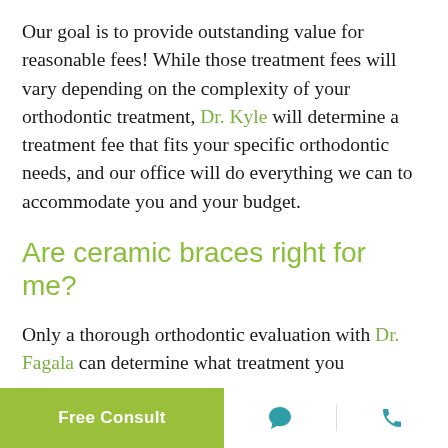Our goal is to provide outstanding value for reasonable fees! While those treatment fees will vary depending on the complexity of your orthodontic treatment, Dr. Kyle will determine a treatment fee that fits your specific orthodontic needs, and our office will do everything we can to accommodate you and your budget.
Are ceramic braces right for me?
Only a thorough orthodontic evaluation with Dr. Fagala can determine what treatment you
Free Consult